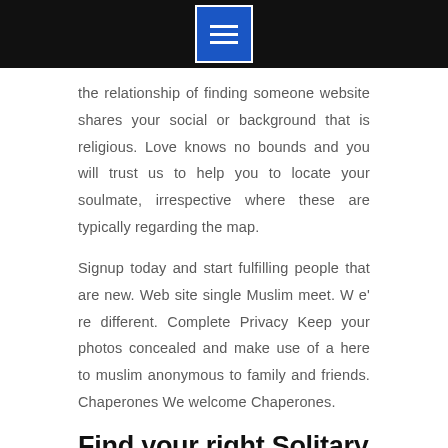the relationship of finding someone website shares your social or background that is religious. Love knows no bounds and you will trust us to help you to locate your soulmate, irrespective where these are typically regarding the map.
Signup today and start fulfilling people that are new. Web site single Muslim meet. W e' re different. Complete Privacy Keep your photos concealed and make use of a here to muslim anonymous to family and friends. Chaperones We welcome Chaperones.
Find your right Solitary Muslim. Meet Solitary Muslims on eHarmony.